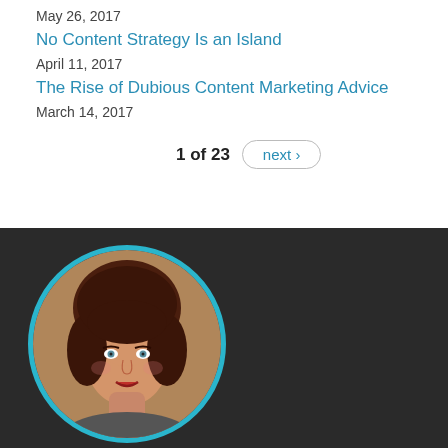May 26, 2017
No Content Strategy Is an Island
April 11, 2017
The Rise of Dubious Content Marketing Advice
March 14, 2017
1 of 23  next ›
[Figure (photo): Circular profile photo of a woman with short brown hair, light eyes, and red lipstick, wearing a dark top, set against a dark background with a teal border.]